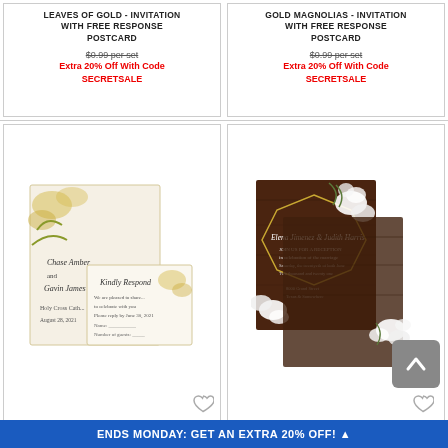LEAVES OF GOLD - INVITATION WITH FREE RESPONSE POSTCARD
$0.99 per set
Extra 20% Off With Code SECRETSALE
GOLD MAGNOLIAS - INVITATION WITH FREE RESPONSE POSTCARD
$0.99 per set
Extra 20% Off With Code SECRETSALE
[Figure (photo): Rustic Glam wedding invitation set with gold floral design and response card]
RUSTIC GLAM - INVITATION WITH
[Figure (photo): Modern Rustic reception card with dark wood background, geometric gold frame, and white flowers]
MODERN RUSTIC - RECEPTION
ENDS MONDAY: GET AN EXTRA 20% OFF!